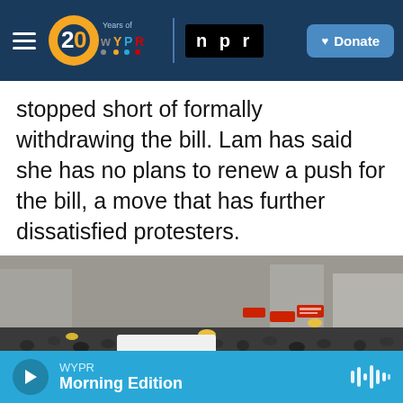WYPR 20 Years | NPR | Donate
stopped short of formally withdrawing the bill. Lam has said she has no plans to renew a push for the bill, a move that has further dissatisfied protesters.
[Figure (photo): Massive crowd of protesters filling streets in Hong Kong, with red banners and a sign reading 港豐 KONG FUNG visible]
WYPR Morning Edition — audio player bar